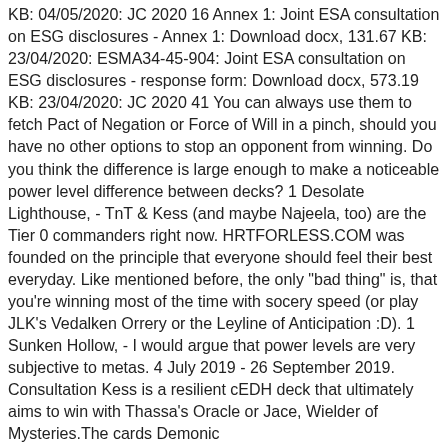KB: 04/05/2020: JC 2020 16 Annex 1: Joint ESA consultation on ESG disclosures - Annex 1: Download docx, 131.67 KB: 23/04/2020: ESMA34-45-904: Joint ESA consultation on ESG disclosures - response form: Download docx, 573.19 KB: 23/04/2020: JC 2020 41 You can always use them to fetch Pact of Negation or Force of Will in a pinch, should you have no other options to stop an opponent from winning. Do you think the difference is large enough to make a noticeable power level difference between decks? 1 Desolate Lighthouse, - TnT & Kess (and maybe Najeela, too) are the Tier 0 commanders right now. HRTFORLESS.COM was founded on the principle that everyone should feel their best everyday. Like mentioned before, the only "bad thing" is, that you're winning most of the time with socery speed (or play JLK's Vedalken Orrery or the Leyline of Anticipation :D). 1 Sunken Hollow, - I would argue that power levels are very subjective to metas. 4 July 2019 - 26 September 2019. Consultation Kess is a resilient cEDH deck that ultimately aims to win with Thassa's Oracle or Jace, Wielder of Mysteries.The cards Demonic